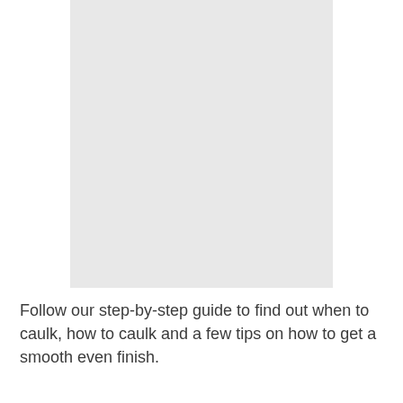[Figure (photo): A large light gray rectangular image placeholder occupying the upper portion of the page]
Follow our step-by-step guide to find out when to caulk, how to caulk and a few tips on how to get a smooth even finish.